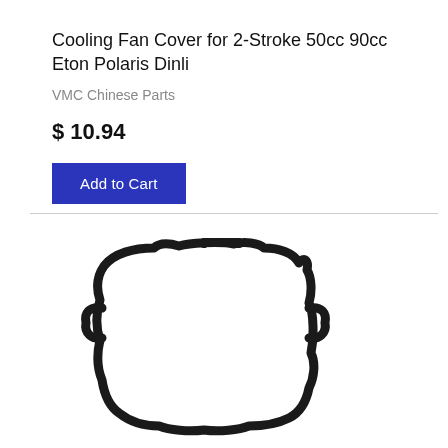Cooling Fan Cover for 2-Stroke 50cc 90cc Eton Polaris Dinli
VMC Chinese Parts
$ 10.94
Add to Cart
[Figure (photo): Black plastic cooling fan cover gasket/frame for 2-stroke small engine, viewed from above, showing its irregular rectangular shape with mounting tabs]